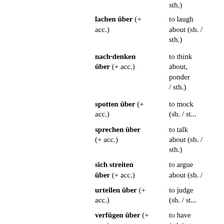sth.)
lachen über (+ acc.) — to laugh about (sb. / sth.)
nach·denken über (+ acc.) — to think about, ponder / sth.)
spotten über (+ acc.) — to mock (sb. / st...)
sprechen über (+ acc.) — to talk about (sb. / sth.)
sich streiten über (+ acc.) — to argue about (sb. / ...)
urteilen über (+ acc.) — to judge (sb. / st...)
verfügen über (+ acc.) — to have (sth.) at one's disposal...